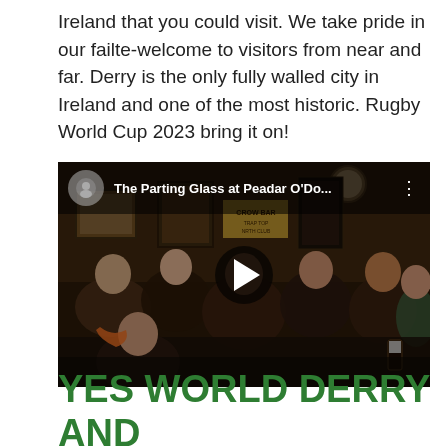Ireland that you could visit. We take pride in our failte-welcome to visitors from near and far. Derry is the only fully walled city in Ireland and one of the most historic. Rugby World Cup 2023 bring it on!
[Figure (screenshot): Embedded YouTube video showing 'The Parting Glass at Peadar O'Do...' with a group of people singing in a pub, dark interior with framed pictures and signs on walls. A play button is visible in the center.]
YES WORLD DERRY AND IRELAND IS READY FOR